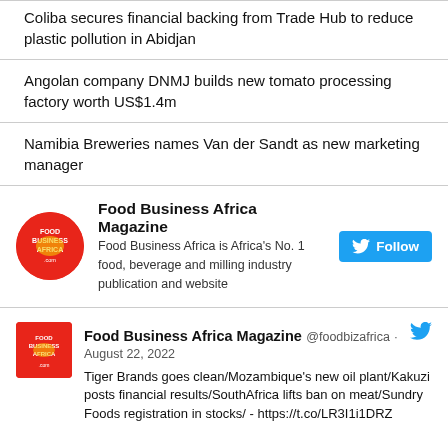Coliba secures financial backing from Trade Hub to reduce plastic pollution in Abidjan
Angolan company DNMJ builds new tomato processing factory worth US$1.4m
Namibia Breweries names Van der Sandt as new marketing manager
[Figure (other): Food Business Africa Magazine Twitter follow widget with circular red logo, bold name, description text, and blue Follow button]
[Figure (screenshot): Food Business Africa Magazine tweet from @foodbizafrica dated August 22, 2022 with text: Tiger Brands goes clean/Mozambique's new oil plant/Kakuzi posts financial results/SouthAfrica lifts ban on meat/Sundry Foods registration in stocks/ - https://t.co/LR3I1i1DRZ]